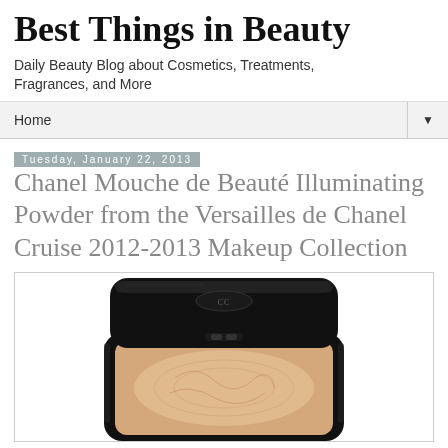Best Things in Beauty
Daily Beauty Blog about Cosmetics, Treatments, Fragrances, and More
Home ▼
Tuesday, January 22, 2013
Chanel Mouche de Beauté Illuminating Powder from the Versailles de Chanel Cruise 2012-2013 Makeup Collection
[Figure (photo): Chanel Mouche de Beauté Illuminating Powder compact with black case, shown open revealing a peach/gold illuminating powder with embossed design]